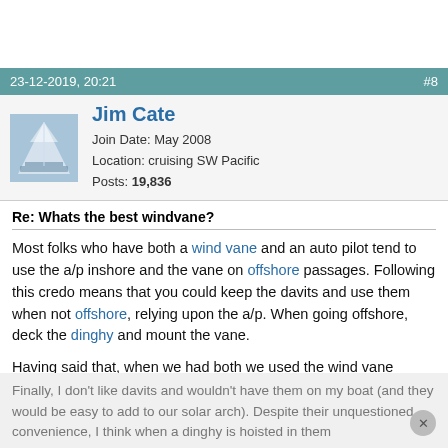23-12-2019, 20:21   #8
Jim Cate
Join Date: May 2008
Location: cruising SW Pacific
Posts: 19,836
Re: Whats the best windvane?
Most folks who have both a wind vane and an auto pilot tend to use the a/p inshore and the vane on offshore passages. Following this credo means that you could keep the davits and use them when not offshore, relying upon the a/p. When going offshore, deck the dinghy and mount the vane.
Having said that, when we had both we used the wind vane nearly all the time, including coastal or even day sails... but that isn't what I observe these days.
Finally, I don't like davits and wouldn't have them on my boat (and they would be easy to add to our solar arch). Despite their unquestioned convenience, I think when a dinghy is hoisted in them